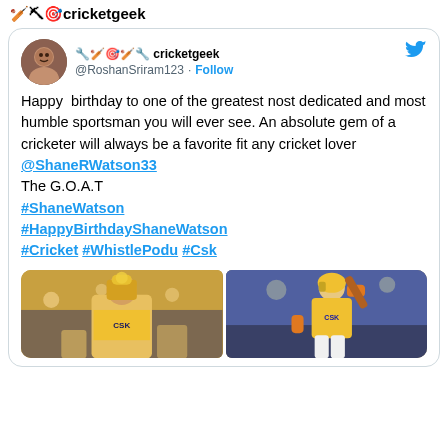⛏🏏🎰🏏⛏ cricketgeek
Happy birthday to one of the greatest nost dedicated and most humble sportsman you will ever see. An absolute gem of a cricketer will always be a favorite fit any cricket lover @ShaneRWatson33
The G.O.A.T
#ShaneWatson
#HappyBirthdayShaneWatson
#Cricket #WhistlePodu #Csk
[Figure (photo): Two side-by-side photos: left shows a cricket player in yellow CSK jersey holding a trophy, right shows a CSK player batting in yellow uniform]